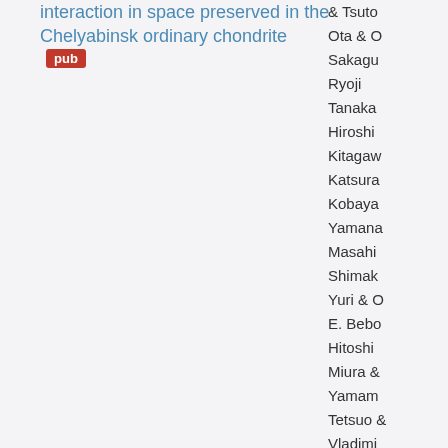interaction in space preserved in the Chelyabinsk ordinary chondrite [pub]
& Tsuto
Ota & O
Sakagu
Ryoji
Tanaka
Hiroshi
Kitagaw
Katsura
Kobaya
Yamana
Masahi
Shimak
Yuri & O
E. Bebo
Hitoshi
Miura &
Yamam
Tetsuo &
Vladimi
Malkove
Victor
Grokhov
& Olga